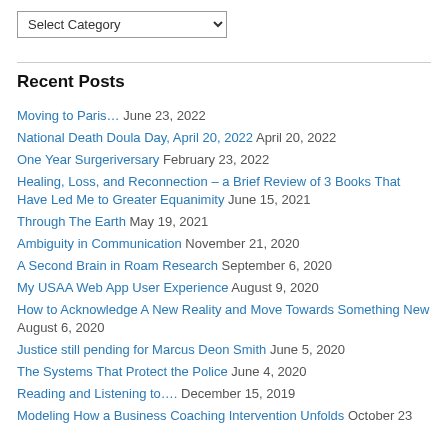Recent Posts
Moving to Paris… June 23, 2022
National Death Doula Day, April 20, 2022 April 20, 2022
One Year Surgeriversary February 23, 2022
Healing, Loss, and Reconnection – a Brief Review of 3 Books That Have Led Me to Greater Equanimity June 15, 2021
Through The Earth May 19, 2021
Ambiguity in Communication November 21, 2020
A Second Brain in Roam Research September 6, 2020
My USAA Web App User Experience August 9, 2020
How to Acknowledge A New Reality and Move Towards Something New August 6, 2020
Justice still pending for Marcus Deon Smith June 5, 2020
The Systems That Protect the Police June 4, 2020
Reading and Listening to…. December 15, 2019
Modeling How a Business Coaching Intervention Unfolds October 23